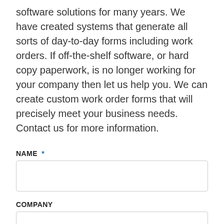software solutions for many years. We have created systems that generate all sorts of day-to-day forms including work orders. If off-the-shelf software, or hard copy paperwork, is no longer working for your company then let us help you. We can create custom work order forms that will precisely meet your business needs. Contact us for more information.
NAME *
COMPANY